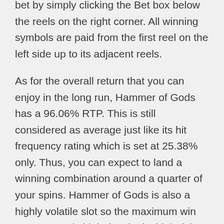bet by simply clicking the Bet box below the reels on the right corner. All winning symbols are paid from the first reel on the left side up to its adjacent reels.
As for the overall return that you can enjoy in the long run, Hammer of Gods has a 96.06% RTP. This is still considered as average just like its hit frequency rating which is set at 25.38% only. Thus, you can expect to land a winning combination around a quarter of your spins. Hammer of Gods is also a highly volatile slot so the maximum win you can get is high despite its high risk.
With the help of its features, you can win as high as 51,000x your stake in just a single spin. When converted to cash, this